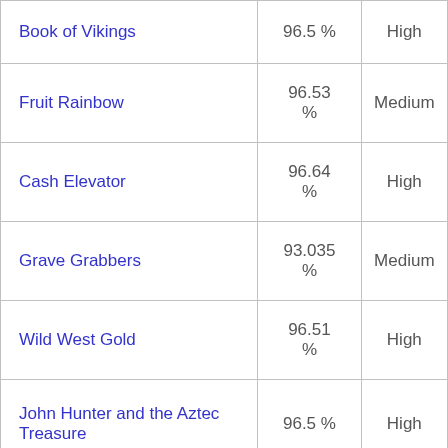| Game | RTP | Volatility |
| --- | --- | --- |
| Book of Vikings | 96.5 % | High |
| Fruit Rainbow | 96.53 % | Medium |
| Cash Elevator | 96.64 % | High |
| Grave Grabbers | 93.035 % | Medium |
| Wild West Gold | 96.51 % | High |
| John Hunter and the Aztec Treasure | 96.5 % | High |
| The Wild Machine | 96.52 % | High |